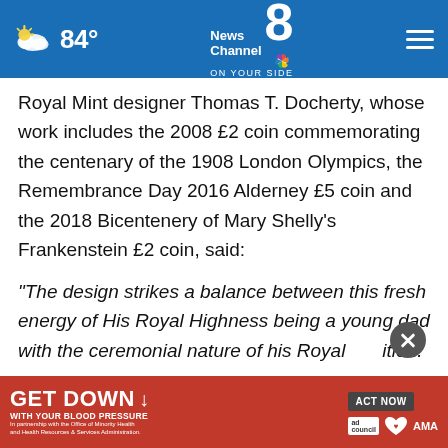News Channel 8 on your side — 84°
Royal Mint designer Thomas T. Docherty, whose work includes the 2008 £2 coin commemorating the centenary of the 1908 London Olympics, the Remembrance Day 2016 Alderney £5 coin and the 2018 Bicentenery of Mary Shelly's Frankenstein £2 coin, said:
"The design strikes a balance between this fresh energy of His Royal Highness being a young dad with the ceremonial nature of his Royal position.
A three... a more dynamic representation rather than a
[Figure (screenshot): Advertisement banner: GET DOWN WITH YOUR BLOOD PRESSURE — ACT NOW, with ad council, heart association, and AMA logos]